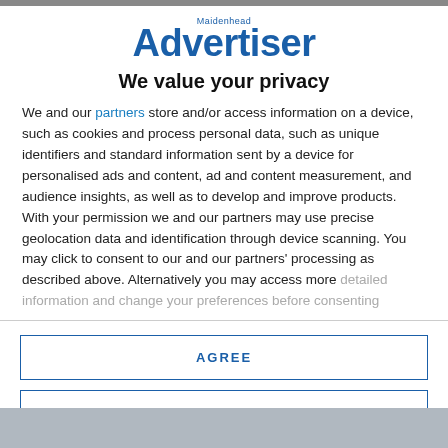[Figure (logo): Maidenhead Advertiser logo in blue with 'Maidenhead' in small text above 'Advertiser' in large bold text]
We value your privacy
We and our partners store and/or access information on a device, such as cookies and process personal data, such as unique identifiers and standard information sent by a device for personalised ads and content, ad and content measurement, and audience insights, as well as to develop and improve products. With your permission we and our partners may use precise geolocation data and identification through device scanning. You may click to consent to our and our partners' processing as described above. Alternatively you may access more detailed information and change your preferences before consenting
AGREE
MORE OPTIONS